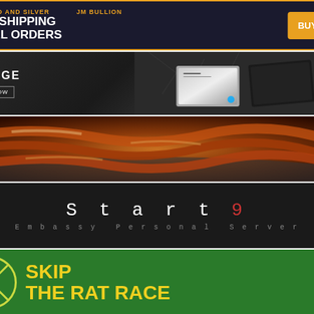[Figure (infographic): JM Bullion advertisement: 'FREE SHIPPING ON ALL ORDERS' with 'BUY NOW' orange button on dark blue background]
[Figure (infographic): The Ridge wallet advertisement showing metal and carbon fiber wallets with 'SHOP NOW' button]
[Figure (photo): Bacon strips cooking in a pan, food advertisement]
[Figure (infographic): Start9 Embassy Personal Server advertisement on black background with monospace text]
[Figure (infographic): Skip The Rat Race advertisement on green background with crossed-circle icon and yellow text]
[Figure (infographic): Dark/black advertisement with large W letter, likely knife brand]
[Figure (photo): Folding knife product photo on cream/tan background]